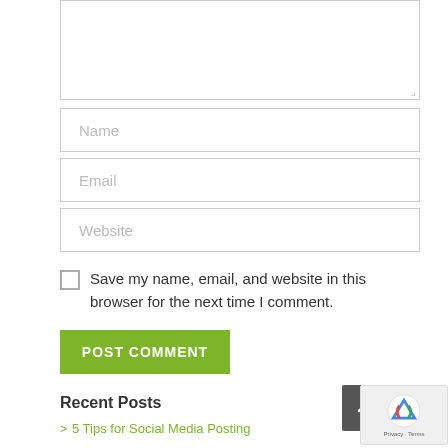[Figure (screenshot): Textarea input box for comment]
[Figure (screenshot): Name input field with placeholder 'Name']
[Figure (screenshot): Email input field with placeholder 'Email']
[Figure (screenshot): Website input field with placeholder 'Website']
Save my name, email, and website in this browser for the next time I comment.
[Figure (screenshot): Green POST COMMENT button]
Recent Posts
> 5 Tips for Social Media Posting